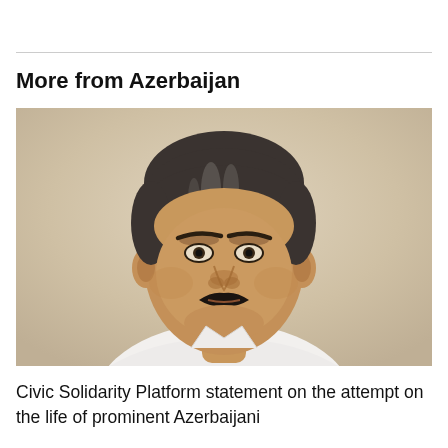More from Azerbaijan
[Figure (photo): Headshot portrait of a middle-aged man with dark hair, a black mustache, and a white shirt, photographed against a beige/cream textured wall background.]
Civic Solidarity Platform statement on the attempt on the life of prominent Azerbaijani